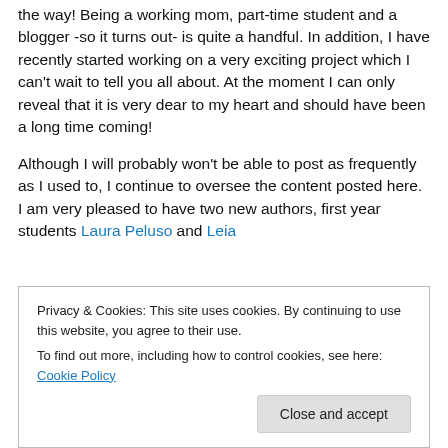the way! Being a working mom, part-time student and a blogger -so it turns out- is quite a handful. In addition, I have recently started working on a very exciting project which I can't wait to tell you all about. At the moment I can only reveal that it is very dear to my heart and should have been a long time coming!
Although I will probably won't be able to post as frequently as I used to, I continue to oversee the content posted here. I am very pleased to have two new authors, first year students Laura Peluso and Leia
Privacy & Cookies: This site uses cookies. By continuing to use this website, you agree to their use. To find out more, including how to control cookies, see here: Cookie Policy